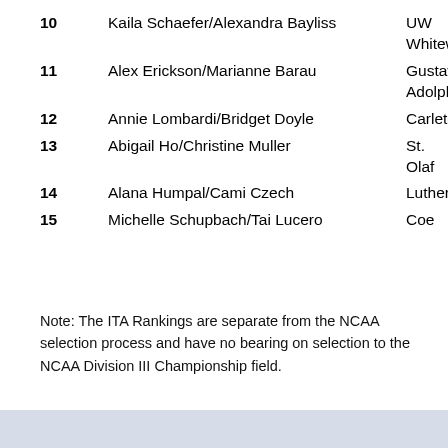10   Kaila Schaefer/Alexandra Bayliss   UW Whitewater
11   Alex Erickson/Marianne Barau   Gustavus Adolph
12   Annie Lombardi/Bridget Doyle   Carleton
13   Abigail Ho/Christine Muller   St. Olaf
14   Alana Humpal/Cami Czech   Luther
15   Michelle Schupbach/Tai Lucero   Coe
Note: The ITA Rankings are separate from the NCAA selection process and have no bearing on selection to the NCAA Division III Championship field.